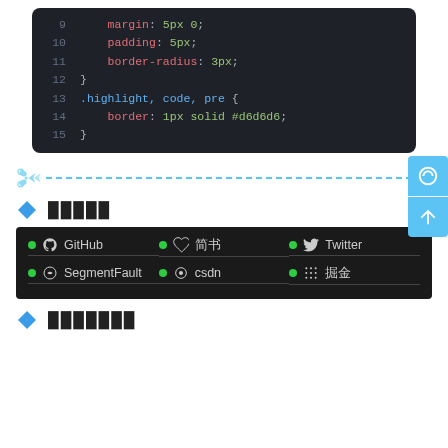[Figure (screenshot): Code block showing CSS lines 9-15 with dark background. Line 9: margin: 5px 0; Line 10: padding: 5px; Line 11: border-radius: 3px; Line 12: } Line 13: .highlight, code, pre { Line 14: border: 1px solid #d6d6d6; Line 15: }]
[Figure (illustration): Dashed blue horizontal divider line with scissors/arrow icon on left]
█████
[Figure (screenshot): Dark panel with social media links: GitHub, 简书, Twitter (row 1); SegmentFault, csdn, 掘金 (row 2). Each with green dot indicator and icon.]
███████